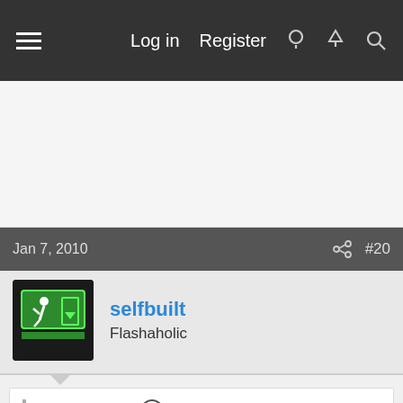Log in  Register
Jan 7, 2010  #20
selfbuilt
Flashaholic
jiantbrane said:
In the same thread, EL7 suggests that it works: regular head with tactical tailcap = three modes and momentary on. Can anyone confirm that? Do the other two modes (SOS and